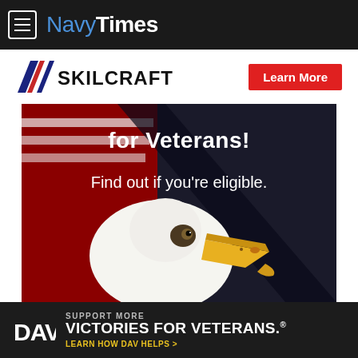NavyTimes
[Figure (logo): SKILCRAFT logo with red/white/blue diagonal stripes, with a red Learn More button]
[Figure (photo): Advertisement for SKILCRAFT for Veterans showing a bald eagle in front of an American flag with text 'for Veterans!' and 'Find out if you're eligible.']
[Figure (logo): DAV banner ad: Support More Victories for Veterans. Learn how DAV Helps.]